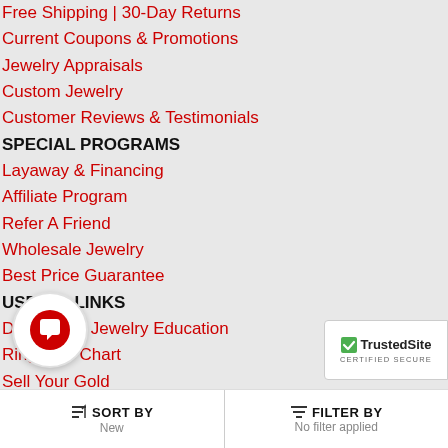Free Shipping | 30-Day Returns
Current Coupons & Promotions
Jewelry Appraisals
Custom Jewelry
Customer Reviews & Testimonials
SPECIAL PROGRAMS
Layaway & Financing
Affiliate Program
Refer A Friend
Wholesale Jewelry
Best Price Guarantee
USEFUL LINKS
Diamond & Jewelry Education
Ring Size Chart
Sell Your Gold
Site Map
POPULAR MENS ITEMS
Men's Gold Chains
Men's Diamond Rings
Men's Diamond Watches
SORT BY New | FILTER BY No filter applied